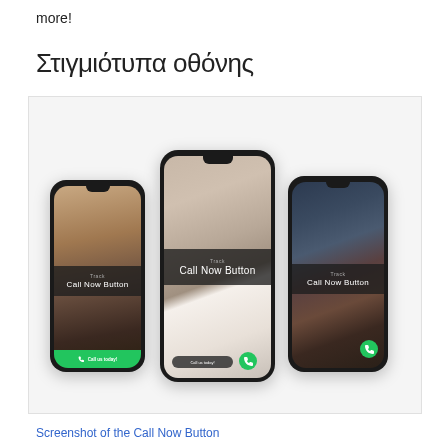more!
Στιγμιότυπα οθόνης
[Figure (screenshot): Three smartphone mockups showing the 'Call Now Button' plugin interface. The left phone displays a city street background with a green 'Call us today!' button bar at the bottom. The center phone (larger) shows a blurred office/notebook background with a 'Call Now Button' dark band overlay and a floating green phone icon circle. The right phone shows a dark atmospheric background with a 'Call Now Button' overlay and a floating green phone icon.]
Screenshot of the Call Now Button